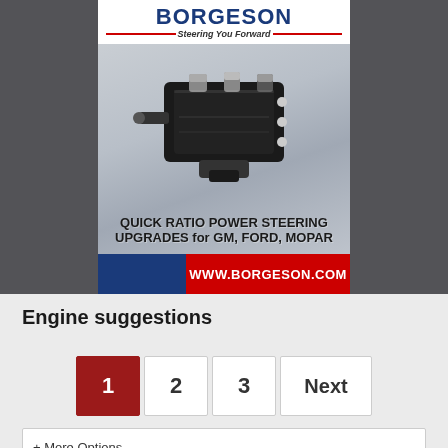[Figure (advertisement): Borgeson advertisement banner showing a power steering gear box product. Text reads: BORGESON - Steering You Forward. QUICK RATIO POWER STEERING UPGRADES for GM, FORD, MOPAR. WWW.BORGESON.COM]
Engine suggestions
1  2  3  Next (pagination controls)
+ More Options